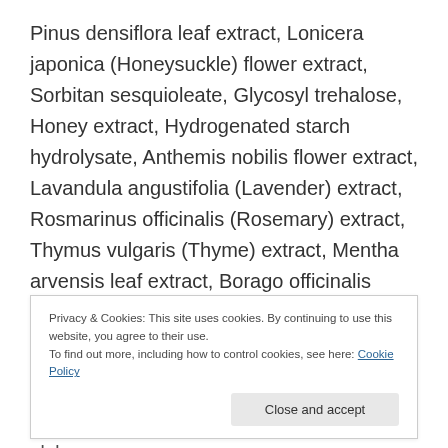Pinus densiflora leaf extract, Lonicera japonica (Honeysuckle) flower extract, Sorbitan sesquioleate, Glycosyl trehalose, Honey extract, Hydrogenated starch hydrolysate, Anthemis nobilis flower extract, Lavandula angustifolia (Lavender) extract, Rosmarinus officinalis (Rosemary) extract, Thymus vulgaris (Thyme) extract, Mentha arvensis leaf extract, Borago officinalis extract, Salvia officinalis (Sage) leaf extract, Jasminum officinale (Jasmine) extract, Arginine, Carbomer, Xanthan gum,
Privacy & Cookies: This site uses cookies. By continuing to use this website, you agree to their use.
To find out more, including how to control cookies, see here: Cookie Policy
Close and accept
Perilla ocymoides leaf extract, Glycyrrhiza glabra